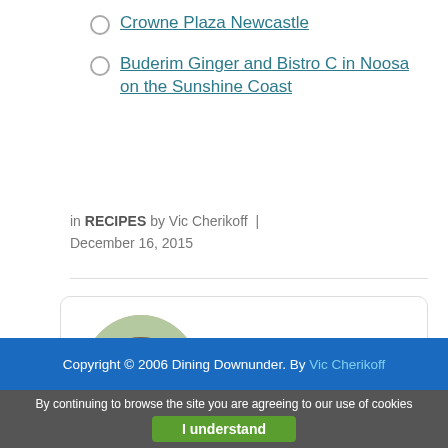Crowne Plaza Newcastle
Buderim Ginger and Bistro C in Noosa on the Sunshine Coast
in RECIPES by Vic Cherikoff | December 16, 2015
Vic Cherikoff
Copyright © 2006 Dining Downunder. By Vic Cherikoff
By continuing to browse the site you are agreeing to our use of cookies
I understand